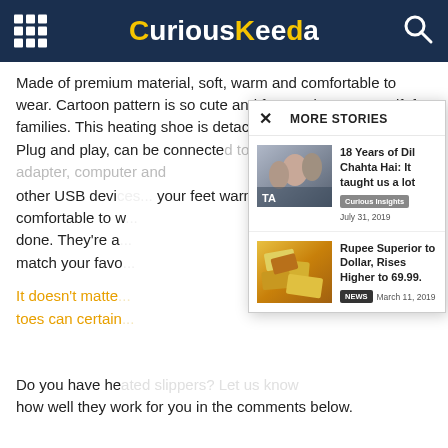CuriousKeeda
Made of premium material, soft, warm and comfortable to wear. Cartoon pattern is so cute and funny, also a great gift for families. This heating shoe is detachable and easy to clean. Plug and play, can be connected to power bank, power adapter, computer and other USB devices... your feet warm ... comfortable to w... done. They're a... match your favo...
It doesn't matte... toes can certain...
Do you have he... how well they work for you in the comments below.
[Figure (screenshot): MORE STORIES popup overlay with two articles: '18 Years of Dil Chahta Hai: It taught us a lot' (Curious Insights, July 31, 2019) and 'Rupee Superior to Dollar, Rises Higher to 69.99.' (NEWS, March 11, 2019)]